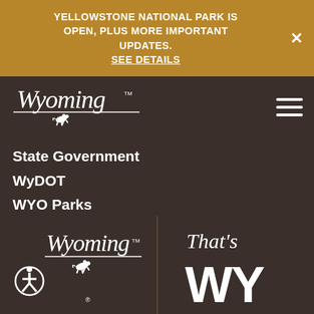YELLOWSTONE NATIONAL PARK IS OPEN, PLUS MORE IMPORTANT UPDATES. SEE DETAILS
[Figure (logo): Wyoming state tourism logo with cursive Wyoming script and bucking bronco, with hamburger menu icon]
State Government
WyDOT
WYO Parks
Game & Fish
Business Council
[Figure (logo): Wyoming tourism logo (script Wyoming with bucking bronco and accessibility icon) on left, and 'That's WY' logo on right]
[Figure (logo): That's WY Wyoming tourism campaign logo]